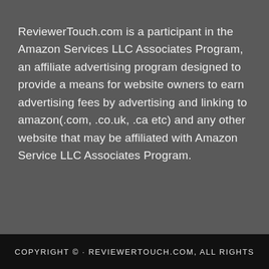ReviewerTouch.com is a participant in the Amazon Services LLC Associates Program, an affiliate advertising program designed to provide a means for website owners to earn advertising fees by advertising and linking to amazon(.com, .co.uk, .ca etc) and any other website that may be affiliated with Amazon Service LLC Associates Program.
COPYRIGHT © · REVIEWERTOUCH.COM, ALL RIGHTS